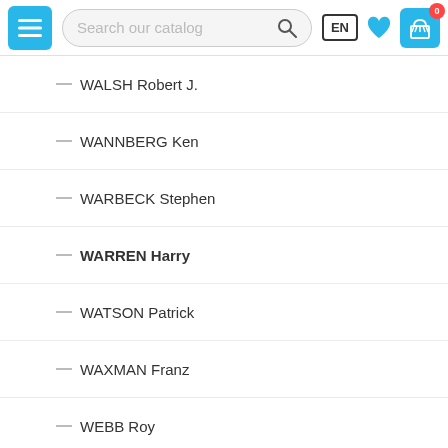Navigation bar with menu, search, EN language selector, wishlist and cart
WALSH Robert J.
WANNBERG Ken
WARBECK Stephen
WARREN Harry
WATSON Patrick
WAXMAN Franz
WEBB Roy
WERBA Marco
WHITE Daniel
WIEDMANN Frederik
WIENER Jean
WILLIAMS David
WILLIAMS Jim
WILLIAMS John